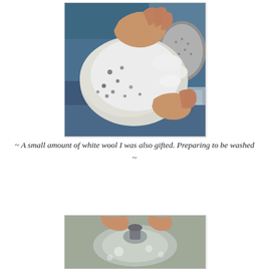[Figure (photo): Hands holding and preparing a clump of white wool fleece with dark specks, over a metal colander/strainer, preparing to wash it. Background shows blue fabric and stainless steel sink.]
~ A small amount of white wool I was also gifted. Preparing to be washed ~
[Figure (photo): Partial view of hands over a stainless steel sink with water, beginning to wash wool.]